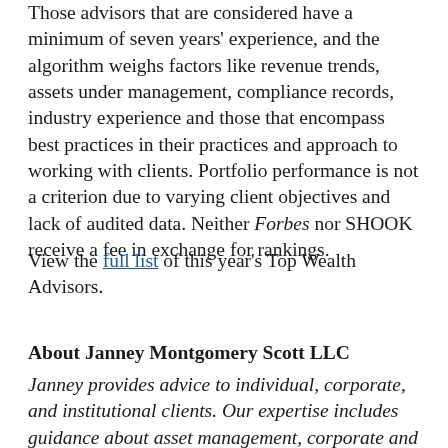Those advisors that are considered have a minimum of seven years' experience, and the algorithm weighs factors like revenue trends, assets under management, compliance records, industry experience and those that encompass best practices in their practices and approach to working with clients. Portfolio performance is not a criterion due to varying client objectives and lack of audited data. Neither Forbes nor SHOOK receive a fee in exchange for rankings.
View the full list of this year's Top Wealth Advisors.
About Janney Montgomery Scott LLC
Janney provides advice to individual, corporate, and institutional clients. Our expertise includes guidance about asset management, corporate and public finance, equity and fixed income investing,